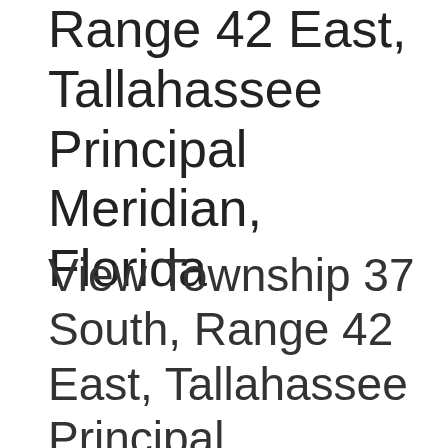Range 42 East, Tallahassee Principal Meridian, Florida
View Township 37 South, Range 42 East, Tallahassee Principal Meridian, Florida Section Township Range map on Google Maps • Free township and range locator searches by address, place or reverse find by land parcel description.